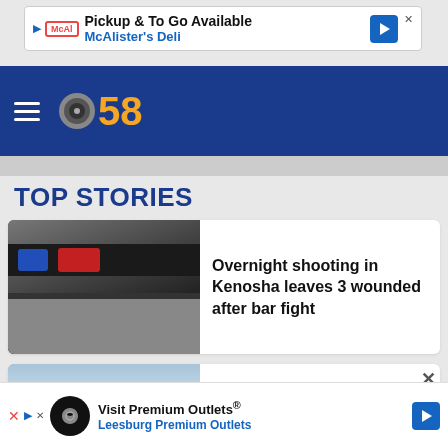[Figure (screenshot): Advertisement banner: Pickup & To Go Available - McAlister's Deli with logo and arrow icon]
[Figure (logo): CBS 58 logo with hamburger menu icon on dark blue header bar]
TOP STORIES
[Figure (photo): Police car with flashing red and blue lights on top]
Overnight shooting in Kenosha leaves 3 wounded after bar fight
[Figure (photo): Cars parked in a lot, including white electric vehicles]
Optimistic buzz for EVs at 1st annual EV car
[Figure (screenshot): Advertisement banner: Visit Premium Outlets - Leesburg Premium Outlets with logo and arrow icon]